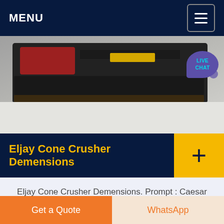MENU
[Figure (photo): Photo of an Eljay cone crusher machine, dark industrial equipment on a light background, with a live chat bubble overlay in the top right corner]
Eljay Cone Crusher Demensions
Eljay Cone Crusher Demensions. Prompt : Caesar is a famous mining equipment manufacturer wellknown both at home and abroad, major in producing stone crushing equipment, mineral separation equipment, limestone grinding equipment, etc. measurement for eljay mobile cone crusher
Get a Quote  |  WhatsApp